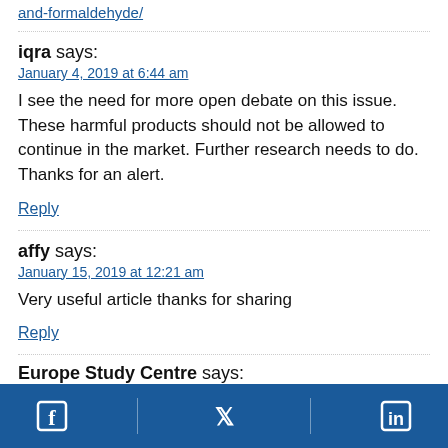and-formaldehyde/
iqra says:
January 4, 2019 at 6:44 am
I see the need for more open debate on this issue. These harmful products should not be allowed to continue in the market. Further research needs to do. Thanks for an alert.
Reply
affy says:
January 15, 2019 at 12:21 am
Very useful article thanks for sharing
Reply
Europe Study Centre says:
Facebook | Twitter | LinkedIn